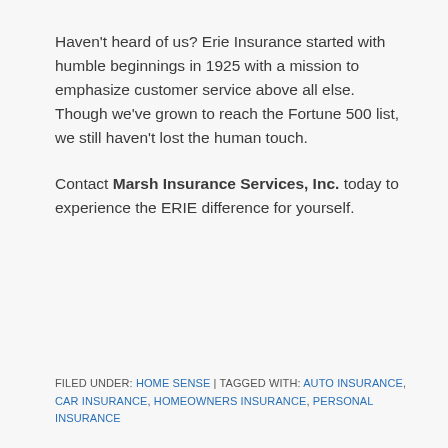Haven't heard of us? Erie Insurance started with humble beginnings in 1925 with a mission to emphasize customer service above all else. Though we've grown to reach the Fortune 500 list, we still haven't lost the human touch.
Contact Marsh Insurance Services, Inc. today to experience the ERIE difference for yourself.
FILED UNDER: HOME SENSE | TAGGED WITH: AUTO INSURANCE, CAR INSURANCE, HOMEOWNERS INSURANCE, PERSONAL INSURANCE